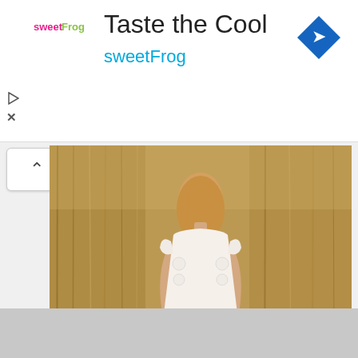[Figure (screenshot): Advertisement banner for sweetFrog frozen yogurt with logo, 'Taste the Cool' headline, brand name in teal, and blue diamond direction arrow icon]
[Figure (photo): Woman with blonde hair wearing a white crochet/lace dress and black boots, viewed from behind, standing in front of tall dry golden grass field]
[Figure (illustration): Gray isometric cube/hexagon geometric tile pattern at bottom of page]